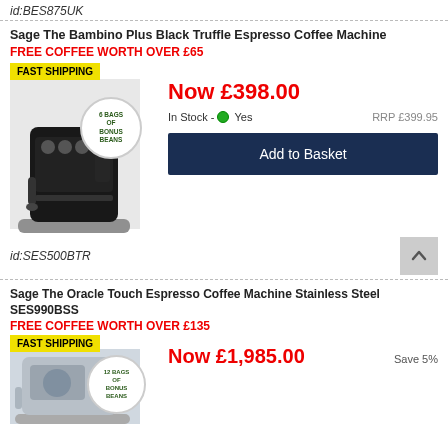id:BES875UK
Sage The Bambino Plus Black Truffle Espresso Coffee Machine
FREE COFFEE WORTH OVER £65
[Figure (photo): Sage Bambino Plus Black Truffle espresso machine with FAST SHIPPING badge and 6 BAGS OF BONUS BEANS circular badge]
Now £398.00
In Stock - Yes
RRP £399.95
Add to Basket
id:SES500BTR
Sage The Oracle Touch Espresso Coffee Machine Stainless Steel SES990BSS
FREE COFFEE WORTH OVER £135
[Figure (photo): Sage Oracle Touch Stainless Steel espresso machine with FAST SHIPPING badge and 12 BAGS OF BONUS BEANS circular badge]
Now £1,985.00
Save 5%